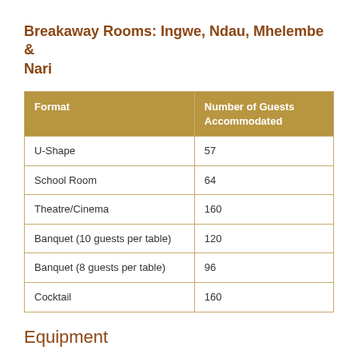Breakaway Rooms: Ingwe, Ndau, Mhelembe & Nari
| Format | Number of Guests Accommodated |
| --- | --- |
| U-Shape | 57 |
| School Room | 64 |
| Theatre/Cinema | 160 |
| Banquet (10 guests per table) | 120 |
| Banquet (8 guests per table) | 96 |
| Cocktail | 160 |
Equipment
Data projector
Screen